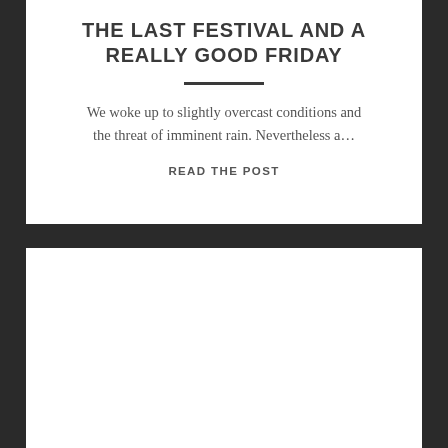THE LAST FESTIVAL AND A REALLY GOOD FRIDAY
We woke up to slightly overcast conditions and the threat of imminent rain. Nevertheless a…
READ THE POST
[Figure (photo): White rectangle / image placeholder panel below the article card]